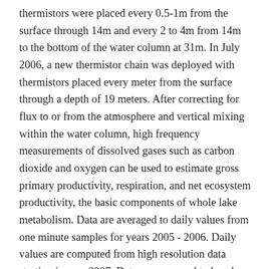thermistors were placed every 0.5-1m from the surface through 14m and every 2 to 4m from 14m to the bottom of the water column at 31m. In July 2006, a new thermistor chain was deployed with thermistors placed every meter from the surface through a depth of 19 meters. After correcting for flux to or from the atmosphere and vertical mixing within the water column, high frequency measurements of dissolved gases such as carbon dioxide and oxygen can be used to estimate gross primary productivity, respiration, and net ecosystem productivity, the basic components of whole lake metabolism. Data are averaged to daily values from one minute samples for years 2005 - 2006. Daily values are computed from high resolution data starting in year 2007. Data are averaged to hourly values from one minute samples for years 2005 - 2008, Hourly values are computed from high resolution data starting in year 2009. Hourly and daily values may not be current with high resolution data in the current year. Sampling Frequency varies for instantaneous